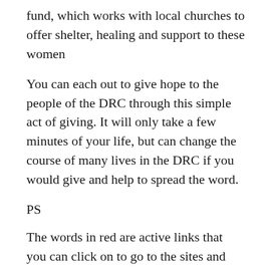fund, which works with local churches to offer shelter, healing and support to these women
You can each out to give hope to the people of the DRC through this simple act of giving. It will only take a few minutes of your life, but can change the course of many lives in the DRC if you would give and help to spread the word.
PS
The words in red are active links that you can click on to go to the sites and articles that I have mentioned.
Share this:
Twitter  Facebook